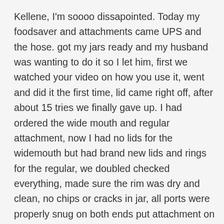Kellene, I'm soooo dissapointed. Today my foodsaver and attachments came UPS and the hose. got my jars ready and my husband was wanting to do it so I let him, first we watched your video on how you use it, went and did it the first time, lid came right off, after about 15 tries we finally gave up. I had ordered the wide mouth and regular attachment, now I had no lids for the widemouth but had brand new lids and rings for the regular, we doubled checked everything, made sure the rim was dry and clean, no chips or cracks in jar, all ports were properly snug on both ends put attachment on then the tube and so on, but when we were looking at the wide mouth attachment and compared it to the regular mouth attachment we noticed the ring on the regular one was way down in the attachment compared to the wide mouth rubber ring, so then we took the wide mouth jar anyway with out the lid and put it on the wide mouth jar and it snapped on real tight and we noticed the blue ring was